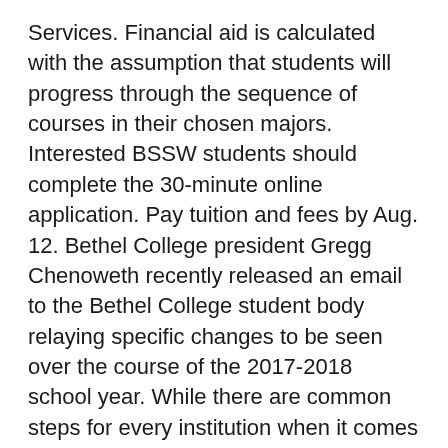Services. Financial aid is calculated with the assumption that students will progress through the sequence of courses in their chosen majors. Interested BSSW students should complete the 30-minute online application. Pay tuition and fees by Aug. 12. Bethel College president Gregg Chenoweth recently released an email to the Bethel College student body relaying specific changes to be seen over the course of the 2017-2018 school year. While there are common steps for every institution when it comes to financial aid, there are also some unique requirements. Minnesota Office of Higher Education (OHE) Financial Aid Refund Policy. Call our office 651.638.6241, toll free 800.255.8706, or send an email to finaid@bethel.edu. Students receiving financial aid must maintain good academic standing with the university in order to qualify for continued financial aid awards. Students may file a Free Application for Federal Student Aid (FAFSA). Bethel Athletic Director Tony Natali is pleased to announce the addition of Varsity Men's Volleyball to Pilot athletic programs at Bethel University. $26,323 average financial aid package for